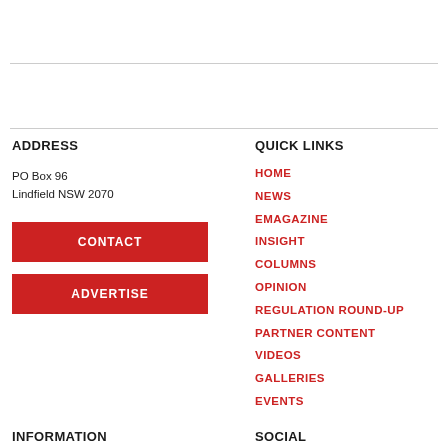ADDRESS
PO Box 96
Lindfield NSW 2070
CONTACT
ADVERTISE
QUICK LINKS
HOME
NEWS
EMAGAZINE
INSIGHT
COLUMNS
OPINION
REGULATION ROUND-UP
PARTNER CONTENT
VIDEOS
GALLERIES
EVENTS
INFORMATION
SOCIAL